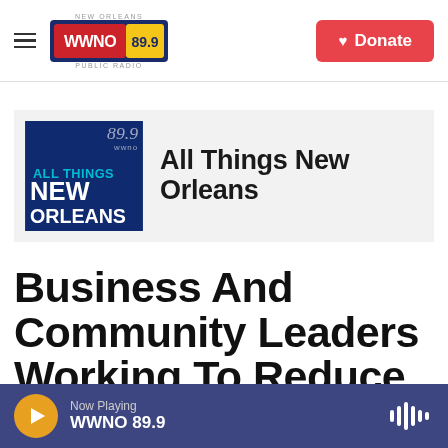WWNO 89.9 New Orleans Public Radio — Donate
[Figure (logo): All Things New Orleans program logo with WWNO 89.9 branding, teal and white text on dark blue background]
All Things New Orleans
Business And Community Leaders Working To Reduce Louisiana's Record
Now Playing WWNO 89.9